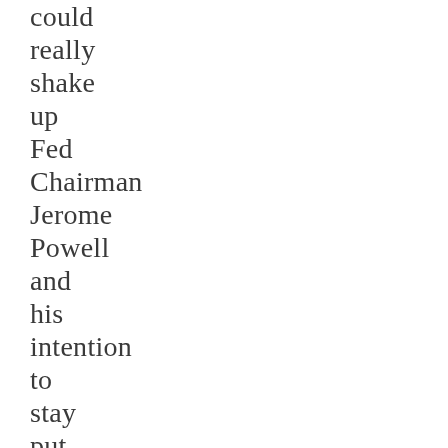could really shake up Fed Chairman Jerome Powell and his intention to stay put regarding any more